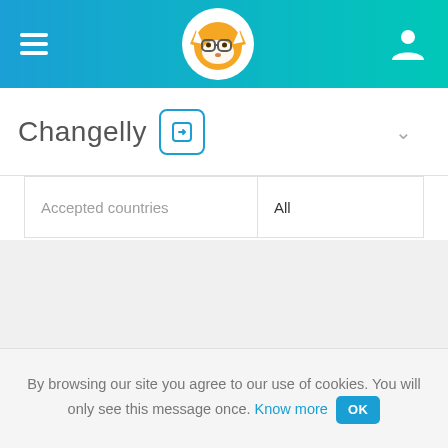[Figure (screenshot): Top navigation bar with hamburger menu icon on left, Changelly fox mascot logo in center, and person/account icon on right, on a blue-to-teal gradient background]
Changelly
| Accepted countries | All |
| --- | --- |
By browsing our site you agree to our use of cookies. You will only see this message once. Know more OK